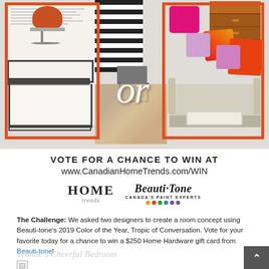[Figure (illustration): Collage of two room design concepts side by side with orange frame borders. Left side shows a black metal bed frame, an orange swivel chair, and black/white striped fabric. Right side shows a beige sofa, colorful pillows, a gold ring pendant light, and a wood dresser. The word 'or' in white italic script overlays the center.]
VOTE FOR A CHANCE TO WIN AT
www.CanadianHomeTrends.com/WIN
[Figure (logo): HOME trends logo (left) and Beauti-Tone Canada's Paint Experts logo with colored dots (right)]
The Challenge: We asked two designers to create a room concept using Beauti-tone's 2019 Color of the Year, Tropic of Conversation. Vote for your favorite today for a chance to win a $250 Home Hardware gift card from Beauti-tone!
Yvonne's Cheerful Bedroom